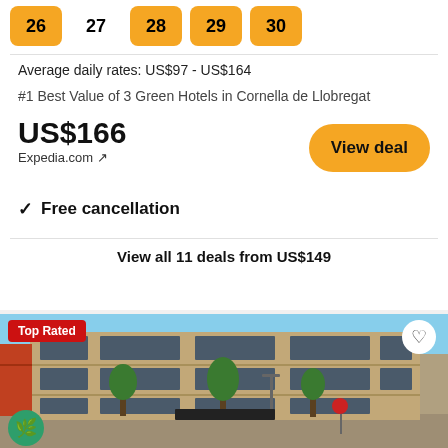26  27  28  29  30
Average daily rates: US$97 - US$164
#1 Best Value of 3 Green Hotels in Cornella de Llobregat
US$166
Expedia.com ↗
View deal
✓ Free cancellation
View all 11 deals from US$149
[Figure (photo): Exterior of a hotel building with stone/brick facade, multiple floors with large windows, trees in front, blue sky background. Tagged 'Top Rated'.]